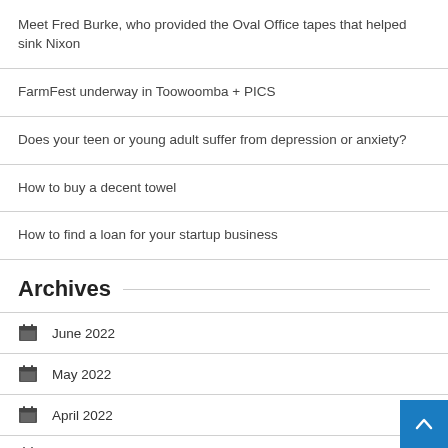Meet Fred Burke, who provided the Oval Office tapes that helped sink Nixon
FarmFest underway in Toowoomba + PICS
Does your teen or young adult suffer from depression or anxiety?
How to buy a decent towel
How to find a loan for your startup business
Archives
June 2022
May 2022
April 2022
March 2022